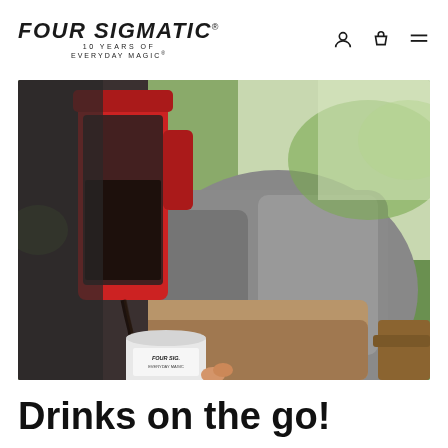FOUR SIGMATIC® 10 YEARS OF EVERYDAY MAGIC®
[Figure (photo): Person in grey knit sweater and khaki pants sitting outdoors, pouring dark coffee from a red French press into a white Four Sigmatic branded cup with a red sleeve. Green grass visible in background.]
Drinks on the go!